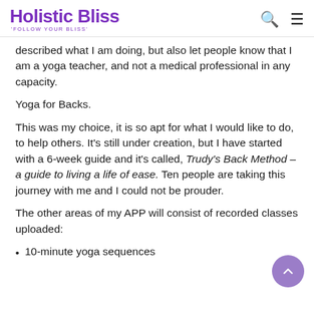Holistic Bliss — 'FOLLOW YOUR BLISS'
described what I am doing, but also let people know that I am a yoga teacher, and not a medical professional in any capacity.
Yoga for Backs.
This was my choice, it is so apt for what I would like to do, to help others. It's still under creation, but I have started with a 6-week guide and it's called, Trudy's Back Method – a guide to living a life of ease. Ten people are taking this journey with me and I could not be prouder.
The other areas of my APP will consist of recorded classes uploaded:
10-minute yoga sequences